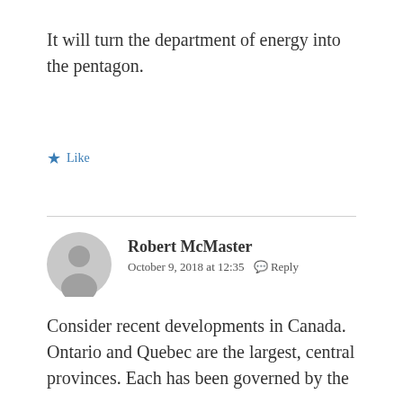It will turn the department of energy into the pentagon.
★ Like
Robert McMaster
October 9, 2018 at 12:35   Reply
Consider recent developments in Canada. Ontario and Quebec are the largest, central provinces. Each has been governed by the